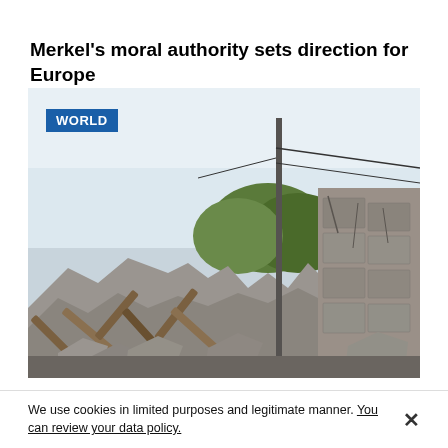Merkel's moral authority sets direction for Europe
[Figure (photo): Photograph of destroyed/bombed building rubble and debris with a utility pole, partially collapsed concrete walls and wooden beams, with trees visible in background and pale sky above. A blue 'WORLD' badge overlays the top-left corner of the image.]
We use cookies in limited purposes and legitimate manner. You can review your data policy.